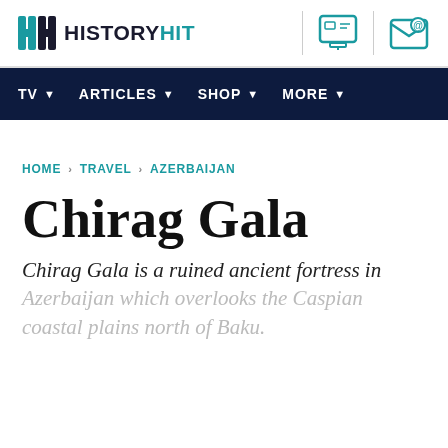HISTORY HIT
TV · ARTICLES · SHOP · MORE ·
HOME > TRAVEL > AZERBAIJAN
Chirag Gala
Chirag Gala is a ruined ancient fortress in Azerbaijan which overlooks the Caspian coastal plains north of Baku.